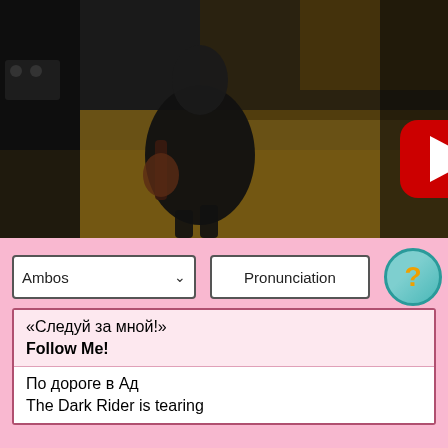[Figure (screenshot): YouTube video thumbnail showing a rock guitarist performing on stage, viewed from above. A red YouTube play button overlay is centered on the image. The performer is wearing black clothing and playing guitar on a wooden stage floor.]
Ambos
Pronunciation
[Figure (other): Help/question mark circle button with teal border and yellow question mark]
| «Следуй за мной!» | Follow Me! |
| По дороге в Ад | The Dark Rider is tearing |